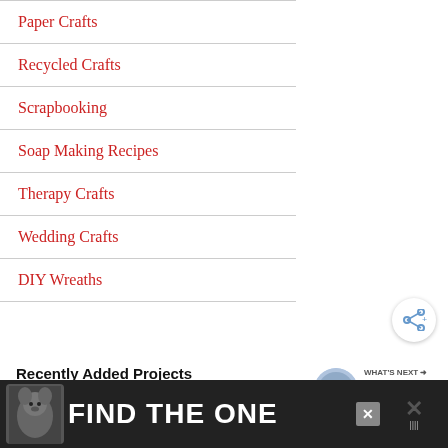Paper Crafts
Recycled Crafts
Scrapbooking
Soap Making Recipes
Therapy Crafts
Wedding Crafts
DIY Wreaths
Recently Added Projects
[Figure (screenshot): Partial thumbnail of a project with large bold text 'DI' visible]
[Figure (infographic): What's Next panel showing Nail Polish Seashells with circular thumbnail]
[Figure (infographic): Ad banner with dog image and text FIND THE ONE with close button]